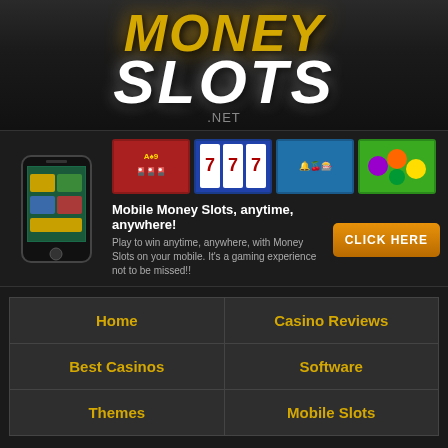[Figure (logo): Money Slots .net logo with gold and white text on dark background]
[Figure (infographic): Mobile Money Slots promotional banner with phone image, slot game thumbnails, descriptive text and CLICK HERE button]
| Home | Casino Reviews |
| Best Casinos | Software |
| Themes | Mobile Slots |
Home » 888 Dragons Slots
888 Dragons Slots »
[Figure (screenshot): 888 Dragons slot game banner with gold and red dragon theme]